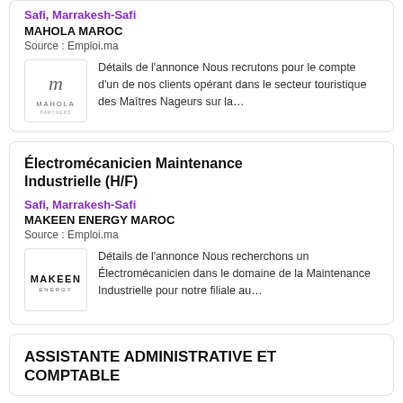Safi, Marrakesh-Safi
MAHOLA MAROC
Source : Emploi.ma
Détails de l'annonce Nous recrutons pour le compte d'un de nos clients opérant dans le secteur touristique des Maîtres Nageurs sur la...
Électromécanicien Maintenance Industrielle (H/F)
Safi, Marrakesh-Safi
MAKEEN ENERGY MAROC
Source : Emploi.ma
Détails de l'annonce Nous recherchons un Électromécanicien dans le domaine de la Maintenance Industrielle pour notre filiale au...
ASSISTANTE ADMINISTRATIVE ET COMPTABLE